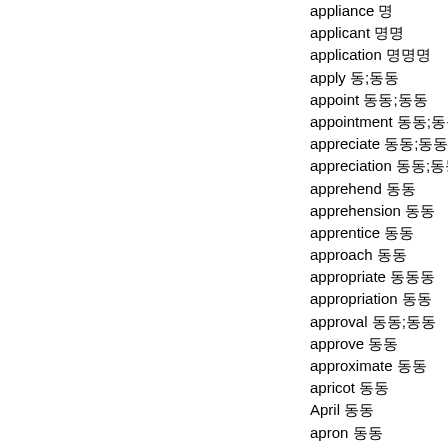appliance 명
applicant 명명
application 명명명
apply 동;동동
appoint 동동;동동
appointment 동동;동동동
appreciate 동동;동동
appreciation 동동;동동동
apprehend 동동
apprehension 동동
apprentice 동동
approach 동동
appropriate 동동동
appropriation 동동
approval 동동;동동
approve 동동
approximate 동동
apricot 동동
April 동동
apron 동동
apt 동동동
arbitrary 동동동
arbitration 동동